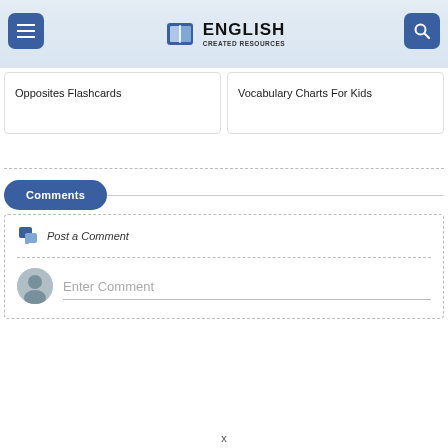English Created Resources
Opposites Flashcards
Vocabulary Charts For Kids
Comments
Post a Comment
Enter Comment